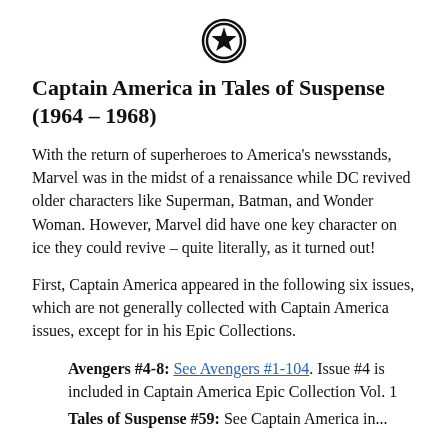[Figure (illustration): Circular badge icon with a star in the center, black outline double circle]
Captain America in Tales of Suspense (1964 – 1968)
With the return of superheroes to America's newsstands, Marvel was in the midst of a renaissance while DC revived older characters like Superman, Batman, and Wonder Woman. However, Marvel did have one key character on ice they could revive – quite literally, as it turned out!
First, Captain America appeared in the following six issues, which are not generally collected with Captain America issues, except for in his Epic Collections.
Avengers #4-8: See Avengers #1-104. Issue #4 is included in Captain America Epic Collection Vol. 1
Tales of Suspense #59: See Captain America in...